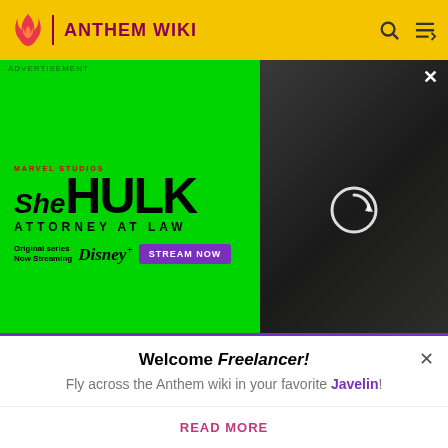ANTHEM WIKI
[Figure (screenshot): She-Hulk Attorney at Law advertisement on green background with Marvel Studios branding, Disney+ streaming promotion with STREAM NOW button, and actress photo on right]
[Figure (illustration): Circular icon with white arrow/decal symbol on dark background, bordered square thumbnail]
Decal: Default Interceptor
[Figure (illustration): Dark circular icon thumbnail, partially visible]
Welcome Freelancer! Fly across the Anthem wiki in your favorite Javelin!
READ MORE